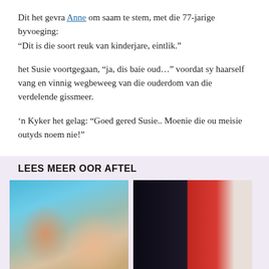Dit het gevra Anne om saam te stem, met die 77-jarige byvoeging: “Dit is die soort reuk van kinderjare, eintlik.”
het Susie voortgegaan, “ja, dis baie oud…” voordat sy haarself vang en vinnig wegbeweeg van die ouderdom van die verdelende gissmeer.
’n Kyker het gelag: “Goed gered Susie.. Moenie die ou meisie outyds noem nie!”
LEES MEER OOR AFTEL
[Figure (photo): Two people posing together in front of a Countdown-style TV game show set background, one man with wide eyes and one woman with blonde hair and surprised expression.]
[Figure (photo): Composite photo: a woman in a red outfit on the left, and two women (one in a white/pink dress, one in a black and white patterned dress) standing in front of a Countdown TV show set on the right.]